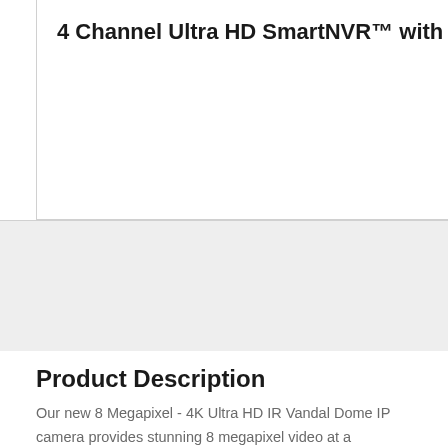4 Channel Ultra HD SmartNVR™ with PoE
8 C
Product Description
Our new 8 Megapixel - 4K Ultra HD IR Vandal Dome IP camera provides stunning 8 megapixel video at a surprisingly affordable price. New features include motorized optical zoom & autofocus, True Day/Night operation with ICR Cut Filter, Smart IR with 30-50 meter (98-164 ft) range, H.264, MJPEG & new High Efficiency H.265 video compression, SD card slot for local recording (up to 128GB), True Wide Dynamic Range, Video Analytics, Alarm